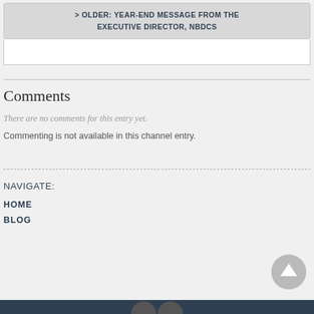> OLDER: YEAR-END MESSAGE FROM THE EXECUTIVE DIRECTOR, NBDCS
Comments
There are no comments for this entry yet.
Commenting is not available in this channel entry.
NAVIGATE:
HOME
BLOG